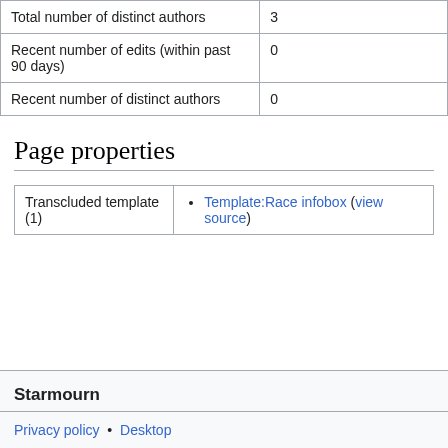|  |  |
| --- | --- |
| Total number of distinct authors | 3 |
| Recent number of edits (within past 90 days) | 0 |
| Recent number of distinct authors | 0 |
Page properties
|  |  |
| --- | --- |
| Transcluded template (1) | Template:Race infobox (view source) |
Starmourn
Privacy policy • Desktop